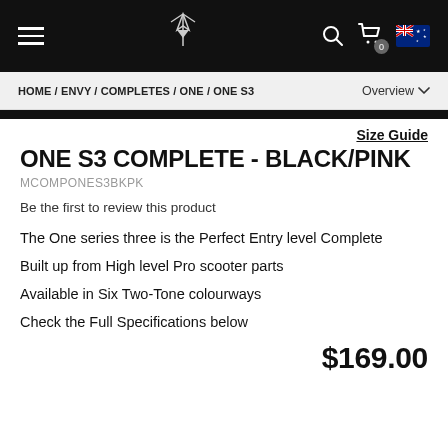Navigation bar with hamburger menu, Envy logo, search, cart (0), Australian flag
HOME / ENVY / COMPLETES / ONE / ONE S3
Overview
Size Guide
ONE S3 COMPLETE - BLACK/PINK
MCOMPONES3BKPK
Be the first to review this product
The One series three is the Perfect Entry level Complete
Built up from High level Pro scooter parts
Available in Six Two-Tone colourways
Check the Full Specifications below
$169.00